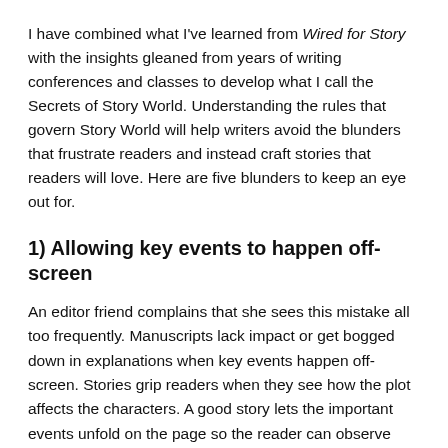I have combined what I've learned from Wired for Story with the insights gleaned from years of writing conferences and classes to develop what I call the Secrets of Story World. Understanding the rules that govern Story World will help writers avoid the blunders that frustrate readers and instead craft stories that readers will love. Here are five blunders to keep an eye out for.
1) Allowing key events to happen off-screen
An editor friend complains that she sees this mistake all too frequently. Manuscripts lack impact or get bogged down in explanations when key events happen off-screen. Stories grip readers when they see how the plot affects the characters. A good story lets the important events unfold on the page so the reader can observe how those events impact the characters' emotions and decisions.
To create an off-screen…